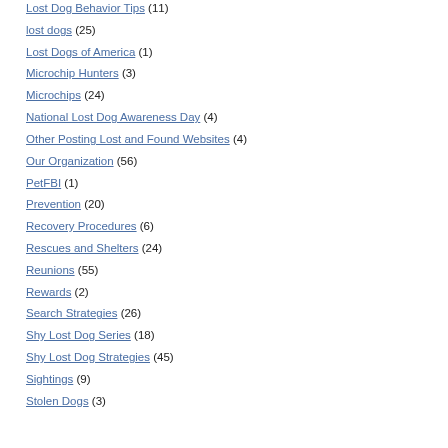Lost Dog Behavior Tips (11)
lost dogs (25)
Lost Dogs of America (1)
Microchip Hunters (3)
Microchips (24)
National Lost Dog Awareness Day (4)
Other Posting Lost and Found Websites (4)
Our Organization (56)
PetFBI (1)
Prevention (20)
Recovery Procedures (6)
Rescues and Shelters (24)
Reunions (55)
Rewards (2)
Search Strategies (26)
Shy Lost Dog Series (18)
Shy Lost Dog Strategies (45)
Sightings (9)
Stolen Dogs (3)